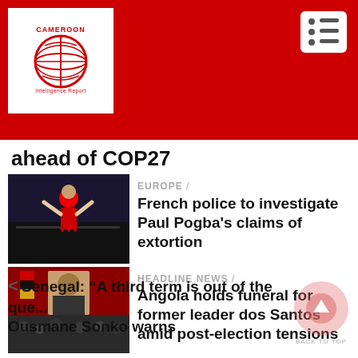[Figure (logo): Cameroon Intelligence Report logo with globe icon on red background header with hamburger menu button]
ahead of COP27
EUROPE /
[Figure (photo): Photo thumbnail for Paul Pogba article — player in red jersey celebrating]
French police to investigate Paul Pogba's claims of extortion
HEADLINE NEWS /
[Figure (photo): Photo thumbnail for Angola funeral article — memorial scene with flags]
Angola holds funeral for former leader dos Santos amid post-election tensions
< Senegal: “A third term is out of the que... Ousmane Sonko warns